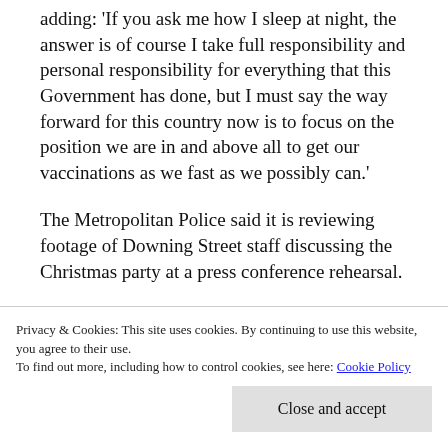adding: 'If you ask me how I sleep at night, the answer is of course I take full responsibility and personal responsibility for everything that this Government has done, but I must say the way forward for this country now is to focus on the position we are in and above all to get our vaccinations as we fast as we possibly can.'
The Metropolitan Police said it is reviewing footage of Downing Street staff discussing the Christmas party at a press conference rehearsal
Privacy & Cookies: This site uses cookies. By continuing to use this website, you agree to their use. To find out more, including how to control cookies, see here: Cookie Policy
Close and accept
incident